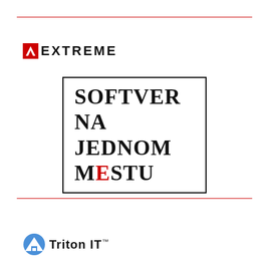[Figure (logo): Horizontal red rule line at top of page]
[Figure (logo): Extreme Networks logo: red/black icon and bold 'EXTREME' text]
[Figure (logo): Bordered box with serif text: SOFTVER NA JEDNOM MESTU, with 'E' in MESTU colored red]
[Figure (logo): Horizontal red rule line at bottom of page]
[Figure (logo): Triton IT logo with blue mountain/house icon and bold 'Triton IT' text with trademark symbol]